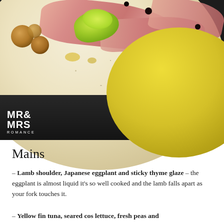[Figure (photo): Close-up food photograph of a ceramic plate with what appears to be a cured fish or meat dish with green lettuce leaves, pink sliced meat or fish, roasted round vegetables, black olives or capers, and a yellow ceramic plate in the foreground. MR& MRS ROMANCE logo watermark in bottom-left corner. Dark background.]
Mains
– Lamb shoulder, Japanese eggplant and sticky thyme glaze – the eggplant is almost liquid it's so well cooked and the lamb falls apart as your fork touches it.
– Yellow fin tuna, seared cos lettuce, fresh peas and